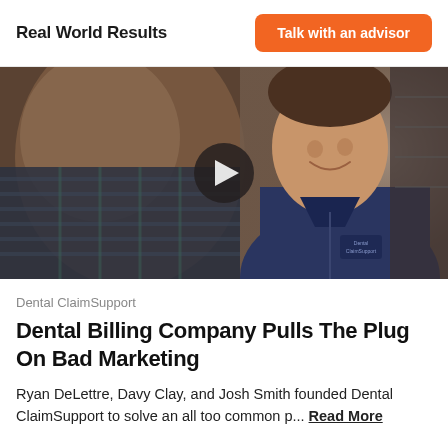Real World Results
Talk with an advisor
[Figure (photo): Video thumbnail showing a man in a navy Dental ClaimSupport jacket smiling, with a play button overlay in the center]
Dental ClaimSupport
Dental Billing Company Pulls The Plug On Bad Marketing
Ryan DeLettre, Davy Clay, and Josh Smith founded Dental ClaimSupport to solve an all too common p... Read More